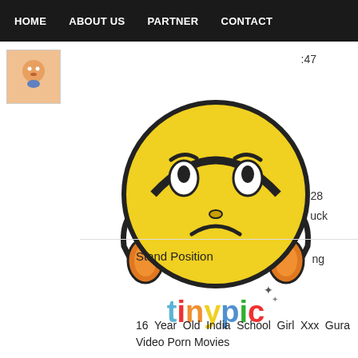HOME   ABOUT US   PARTNER   CONTACT
[Figure (logo): Small avatar/logo icon with cartoon character on peach background]
:47
[Figure (illustration): Tinypic placeholder image: sad emoji character with headphones and blue shoes, with 'tinypic' logo text. Text below: 'This image is no longer available. Visit tinypic.com for more information.']
:28
uck
ng
Stand Position
16 Year Old India School Girl Xxx Gura Video Porn Movies